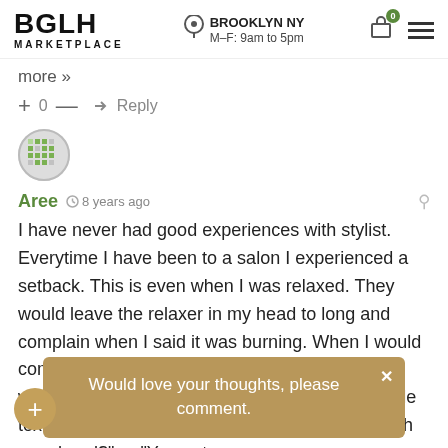BGLH MARKETPLACE | BROOKLYN NY M-F: 9am to 5pm
more »
+ 0 — → Reply
[Figure (illustration): User avatar: pixelated green/grey grid pattern circle]
Aree  8 years ago
I have never had good experiences with stylist. Everytime I have been to a salon I experienced a setback. This is even when I was relaxed. They would leave the relaxer in my head to long and complain when I said it was burning. When I would come in months without having a touch-up they would play in my hair and make fun of my multiple textures. They would say... "What is going on with your head?" or "You got ...ed a natural hair sa... Read more
Would love your thoughts, please comment.